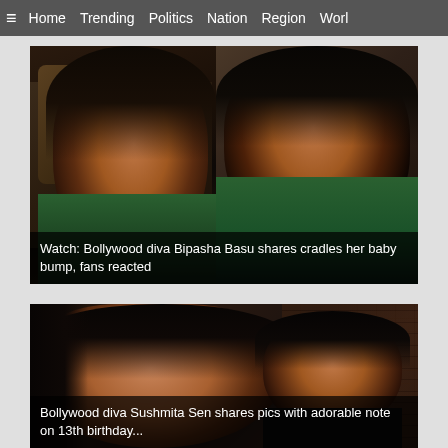≡  Home  Trending  Politics  Nation  Region  Worl
[Figure (photo): Two side-by-side video frames of a Bollywood actress (Bipasha Basu) cradling her baby bump, shown in dim lighting]
Watch: Bollywood diva Bipasha Basu shares cradles her baby bump, fans reacted
[Figure (photo): Photo of Bollywood actress Sushmita Sen posing with a young girl (her daughter) in front of a brick wall background]
Bollywood diva Sushmita Sen shares pics with adorable note on 13th birthday...